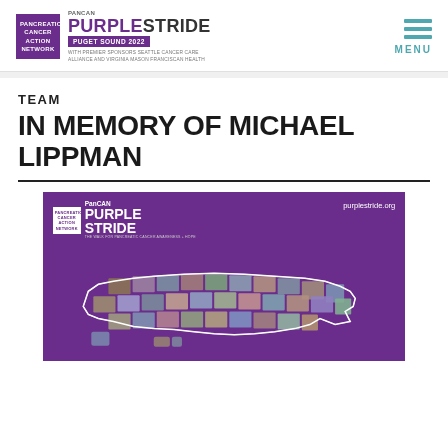PanCAN PurpleStride Puget Sound 2022 — with premier sponsors Seattle Cancer Care Alliance and Virginia Mason Franciscan Health
TEAM
IN MEMORY OF MICHAEL LIPPMAN
[Figure (photo): PanCAN PurpleStride promotional image with purple background, PurpleStride logo, purplestride.org URL, and a collage of event participants arranged in the shape of the United States map.]